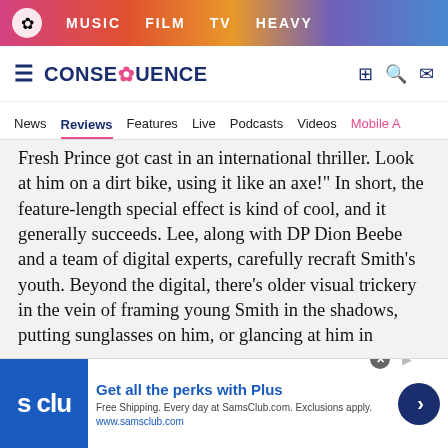MUSIC  FILM  TV  HEAVY
CONSEQUENCE
News  Reviews  Features  Live  Podcasts  Videos  Mobile A
Fresh Prince got cast in an international thriller. Look at him on a dirt bike, using it like an axe!" In short, the feature-length special effect is kind of cool, and it generally succeeds. Lee, along with DP Dion Beebe and a team of digital experts, carefully recraft Smith's youth. Beyond the digital, there's older visual trickery in the vein of framing young Smith in the shadows, putting sunglasses on him, or glancing at him in
[Figure (screenshot): Advertisement banner for SamsClub.com featuring the Sam's Club logo, text 'Get all the perks with Plus', subtext 'Free Shipping. Every day at SamsClub.com. Exclusions apply.' and URL www.samsclub.com, with a blue arrow button on the right.]